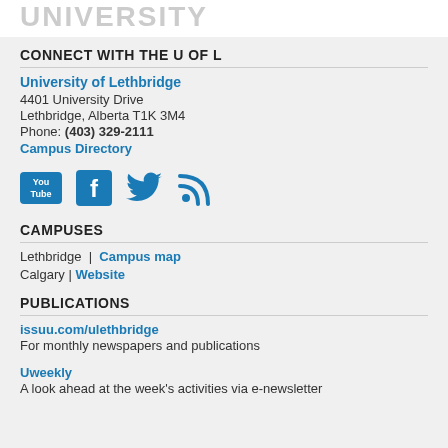UNIVERSITY
CONNECT WITH THE U OF L
University of Lethbridge
4401 University Drive
Lethbridge, Alberta T1K 3M4
Phone: (403) 329-2111
Campus Directory
[Figure (logo): Social media icons: YouTube, Facebook, Twitter, RSS feed]
CAMPUSES
Lethbridge | Campus map
Calgary | Website
PUBLICATIONS
issuu.com/ulethbridge
For monthly newspapers and publications
Uweekly
A look ahead at the week's activities via e-newsletter